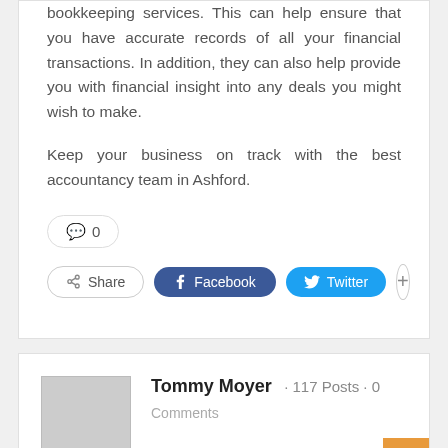bookkeeping services. This can help ensure that you have accurate records of all your financial transactions. In addition, they can also help provide you with financial insight into any deals you might wish to make.

Keep your business on track with the best accountancy team in Ashford.
💬 0
Share  Facebook  Twitter  +
Tommy Moyer · 117 Posts · 0
Comments